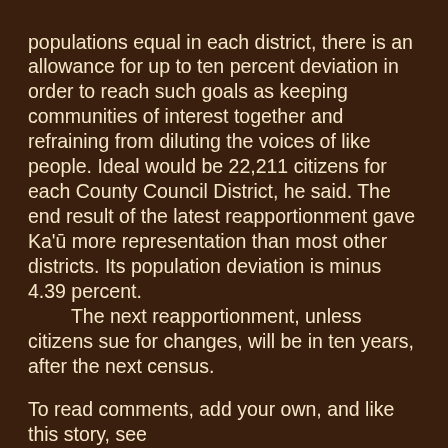populations equal in each district, there is an allowance for up to ten percent deviation in order to reach such goals as keeping communities of interest together and refraining from diluting the voices of like people. Ideal would be 22,211 citizens for each County Council District, he said. The end result of the latest reapportionment gave Ka'ū more representation than most other districts. Its population deviation is minus 4.39 percent.
	The next reapportionment, unless citizens sue for changes, will be in ten years, after the next census.
To read comments, add your own, and like this story, see www.facebook.com/kaucalendar/. See latest print edition at www.kaucalendar.com.
THE COUNTY'S MILOLI'I TRANSFER STATION, at the base of Miloli'i Road below Hwy 11, will be open for its last day on Saturday, Jan. 22. There will be new hours at Ocean View and Waiea Transfer Stations to accommodate the public's need to dispose of trash and recyclables. The reason for the closure, according to County of Hawai'i, is that Hawai'i State law now prohibits waste or disposal